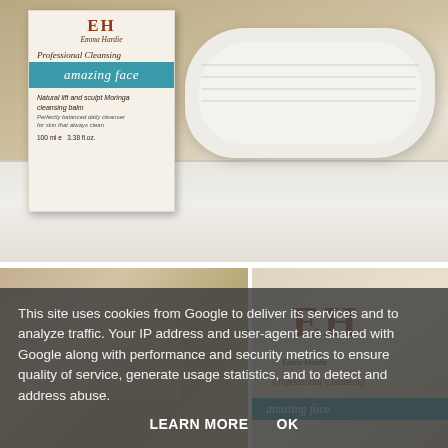[Figure (photo): Photo of an Emma Hardie Professional Cleansing 'amazing face' Natural lift and sculpt Moringa cleansing balm product box (100ml / 3.38 fl.oz.) sitting on a bathroom surface next to a rolled white towel.]
[Figure (photo): Two-panel photo showing close-up views of marble/stone surface on the left, and the Emma Hardie product box (EH logo, brand name, Professional Cleansing, amazing face teal band) on the right.]
This site uses cookies from Google to deliver its services and to analyze traffic. Your IP address and user-agent are shared with Google along with performance and security metrics to ensure quality of service, generate usage statistics, and to detect and address abuse.
LEARN MORE   OK